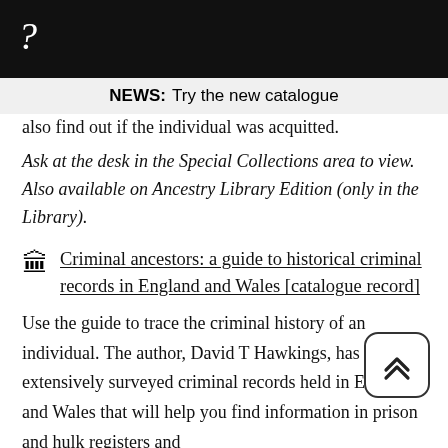?
NEWS:   Try the new catalogue
also find out if the individual was acquitted.
Ask at the desk in the Special Collections area to view. Also available on Ancestry Library Edition (only in the Library).
Criminal ancestors: a guide to historical criminal records in England and Wales [catalogue record]
Use the guide to trace the criminal history of an individual. The author, David T Hawkings, has extensively surveyed criminal records held in England and Wales that will help you find information in prison and hulk registers and